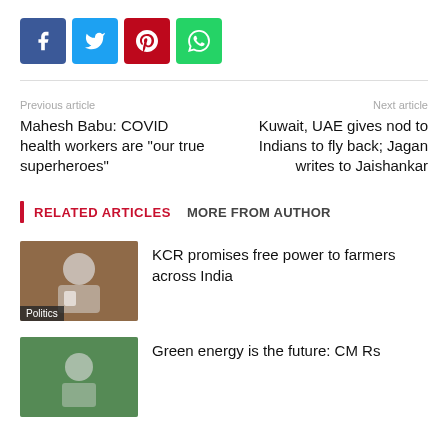[Figure (other): Social media sharing buttons: Facebook (blue), Twitter (cyan), Pinterest (red), WhatsApp (green)]
Previous article
Next article
Mahesh Babu: COVID health workers are “our true superheroes”
Kuwait, UAE gives nod to Indians to fly back; Jagan writes to Jaishankar
RELATED ARTICLES   MORE FROM AUTHOR
KCR promises free power to farmers across India
[Figure (photo): Photo thumbnail of a man in white with Politics tag]
Green energy is the future: CM Rs
[Figure (photo): Photo thumbnail with green theme]